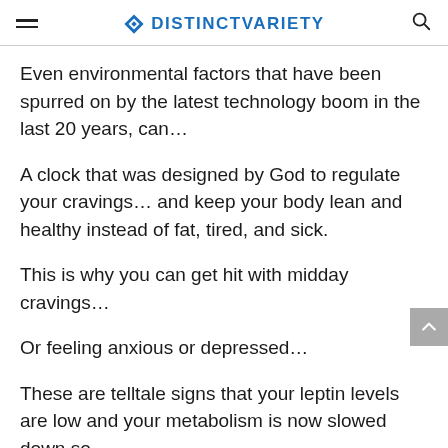DISTINCTVARIETY
Even environmental factors that have been spurred on by the latest technology boom in the last 20 years, can…
A clock that was designed by God to regulate your cravings… and keep your body lean and healthy instead of fat, tired, and sick.
This is why you can get hit with midday cravings…
Or feeling anxious or depressed…
These are telltale signs that your leptin levels are low and your metabolism is now slowed down so